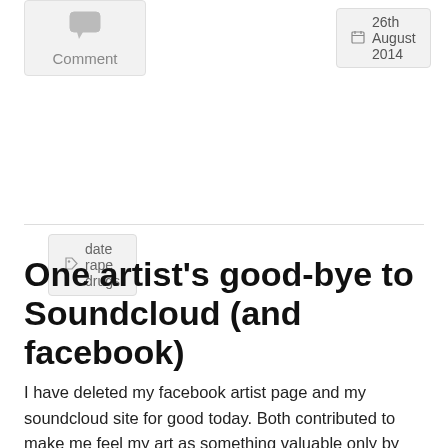[Figure (other): Comment button with speech bubble icon and label 'Comment' on a light grey background box]
26th August 2014
date rape drugs
One artist's good-bye to Soundcloud (and facebook)
I have deleted my facebook artist page and my soundcloud site for good today. Both contributed to make me feel my art as something valuable only by numbers, clicks, likes and forcing you to promote your stuff – all in all: it turns it into a bland quantifiable product. For me music is more